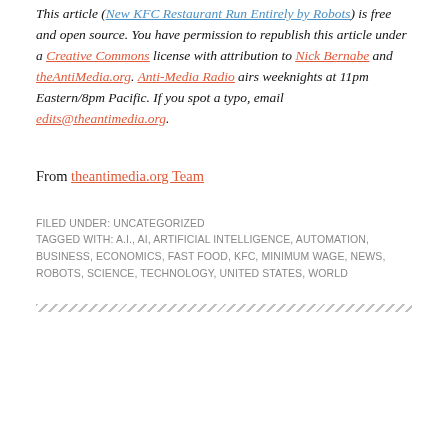This article (New KFC Restaurant Run Entirely by Robots) is free and open source. You have permission to republish this article under a Creative Commons license with attribution to Nick Bernabe and theAntiMedia.org. Anti-Media Radio airs weeknights at 11pm Eastern/8pm Pacific. If you spot a typo, email edits@theantimedia.org.
From theantimedia.org Team
FILED UNDER: UNCATEGORIZED
TAGGED WITH: A.I., AI, ARTIFICIAL INTELLIGENCE, AUTOMATION, BUSINESS, ECONOMICS, FAST FOOD, KFC, MINIMUM WAGE, NEWS, ROBOTS, SCIENCE, TECHNOLOGY, UNITED STATES, WORLD